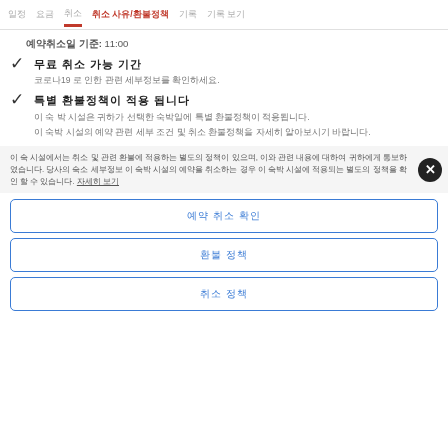미리 예약 취소 취소 사유/환불정책 기록 기록 보기
예약취소일 기준: 11:00
체크 무료 취소 가능 기간
코로나19 로 인한 관련 세부정보를 확인하세요.
체크 특별 환불정책이 적용 됩니다
이 숙박 시설은 귀하가 선택한 숙박일에 특별 환불정책이 적용됩니다.
이 숙박 시설의 예약 관련 세부 조건 및 취소 환불정책을 자세히 알아보시기 바랍니다.
이 숙 시설에서는 취소 및 관련 환불에 적용하는 별도의 정책이 있으며, 이와 관련 내용에 대하여 귀하에게 통보하였습니다. 당사의 숙소 세부정보 이 숙박 시설의 예약을 취소하는 경우 이 숙박 시설에 적용되는 별도의 정책을 확인 할 수 있습니다. 자세히 보기
예약 취소 확인
환불 정책
취소 정책